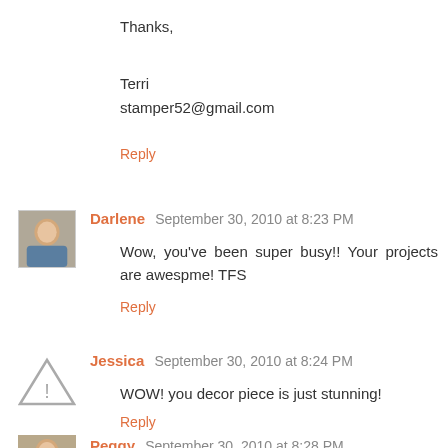Thanks,
Terri
stamper52@gmail.com
Reply
Darlene  September 30, 2010 at 8:23 PM
Wow, you've been super busy!! Your projects are awespme! TFS
Reply
Jessica  September 30, 2010 at 8:24 PM
WOW! you decor piece is just stunning!
Reply
Peggy  September 30, 2010 at 8:28 PM